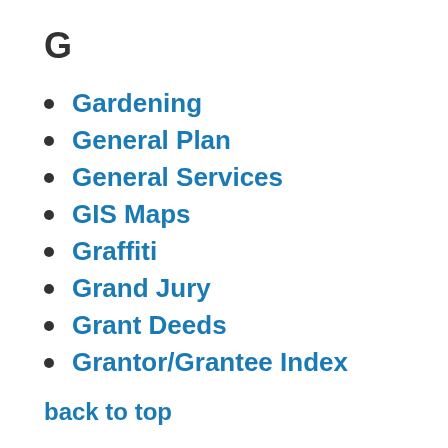G
Gardening
General Plan
General Services
GIS Maps
Graffiti
Grand Jury
Grant Deeds
Grantor/Grantee Index
back to top